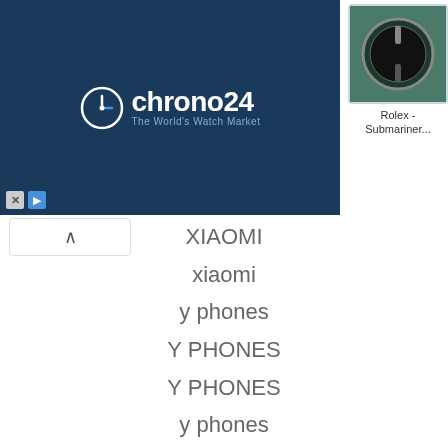[Figure (screenshot): Chrono24 advertisement banner with logo on dark navy background and four watch product images (Rolex Submariner, Omega Seamaster, Rolex Submariner, Omega Speedmaster) with labels]
XIAOMI
xiaomi
y phones
Y PHONES
Y PHONES
y phones
y phones
Z PHONES
Z PHONES
Z phones
Z PHONES
z phones